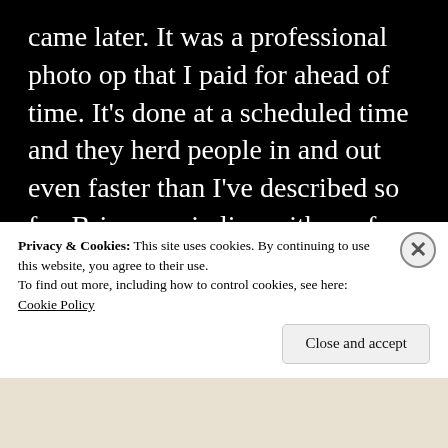came later. It was a professional photo op that I paid for ahead of time. It’s done at a scheduled time and they herd people in and out even faster than I’ve described so far. Brian was in line with me for the whole thing and it was honestly kind of a clusterfudge. We spent quite a bit of time getting shuffled around to 3 separate lines, only to end up back in the one we started. Organization and communication wasn’t the best there, but once it finally got moving, it was fairly quick. Once in the p... a...
Privacy & Cookies: This site uses cookies. By continuing to use this website, you agree to their use.
To find out more, including how to control cookies, see here: Cookie Policy
Close and accept